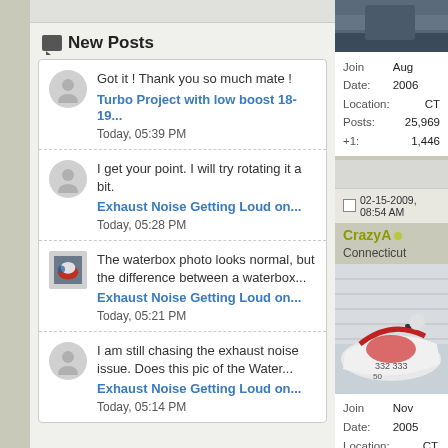New Posts
Got it ! Thank you so much mate !
Turbo Project with low boost 18-19...
Today, 05:39 PM
I get your point. I will try rotating it a bit.
Exhaust Noise Getting Loud on...
Today, 05:28 PM
The waterbox photo looks normal, but the difference between a waterbox...
Exhaust Noise Getting Loud on...
Today, 05:21 PM
I am still chasing the exhaust noise issue. Does this pic of the Water...
Exhaust Noise Getting Loud on...
Today, 05:14 PM
Join Date: Aug 2006
Location: CT
Posts: 25,969
+1: 1,446
02-15-2009, 08:54 AM
CrazyA
Connecticut
Join Date: Nov 2005
Location: CT.
Posts: 8,294
+1: 1,110